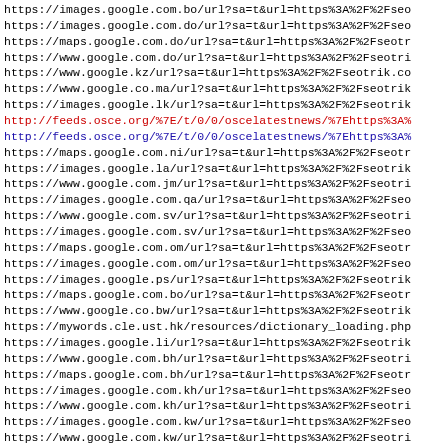https://images.google.com.bo/url?sa=t&url=https%3A%2F%2Fseo
https://images.google.com.do/url?sa=t&url=https%3A%2F%2Fseo
https://maps.google.com.do/url?sa=t&url=https%3A%2F%2Fseotr
https://www.google.com.do/url?sa=t&url=https%3A%2F%2Fseotri
https://www.google.kz/url?sa=t&url=https%3A%2F%2Fseotrik.co
https://www.google.co.ma/url?sa=t&url=https%3A%2F%2Fseotrik
https://images.google.lk/url?sa=t&url=https%3A%2F%2Fseotrik
http://feeds.osce.org/%7E/t/0/0/oscelatestnews/%7Ehttps%3A%
http://feeds.osce.org/%7E/t/0/0/oscelatestnews/%7Ehttps%3A%
https://maps.google.com.ni/url?sa=t&url=https%3A%2F%2Fseotr
https://images.google.la/url?sa=t&url=https%3A%2F%2Fseotrik
https://www.google.com.jm/url?sa=t&url=https%3A%2F%2Fseotri
https://images.google.com.qa/url?sa=t&url=https%3A%2F%2Fseo
https://www.google.com.sv/url?sa=t&url=https%3A%2F%2Fseotri
https://images.google.com.sv/url?sa=t&url=https%3A%2F%2Fseo
https://maps.google.com.om/url?sa=t&url=https%3A%2F%2Fseotr
https://images.google.com.om/url?sa=t&url=https%3A%2F%2Fseo
https://images.google.ps/url?sa=t&url=https%3A%2F%2Fseotrik
https://maps.google.com.bo/url?sa=t&url=https%3A%2F%2Fseotr
https://www.google.co.bw/url?sa=t&url=https%3A%2F%2Fseotrik
https://mywords.cle.ust.hk/resources/dictionary_loading.php
https://images.google.li/url?sa=t&url=https%3A%2F%2Fseotrik
https://www.google.com.bh/url?sa=t&url=https%3A%2F%2Fseotri
https://maps.google.com.bh/url?sa=t&url=https%3A%2F%2Fseotr
https://images.google.com.kh/url?sa=t&url=https%3A%2F%2Fseo
https://www.google.com.kh/url?sa=t&url=https%3A%2F%2Fseotri
https://images.google.com.kw/url?sa=t&url=https%3A%2F%2Fseo
https://www.google.com.kw/url?sa=t&url=https%3A%2F%2Fseotri
https://maps.google.com.lb/url?sa=t&url=https%3A%2F%2Fseotr
https://images.google.com.lb/url?sa=t&url=https%3A%2F%2Fseo